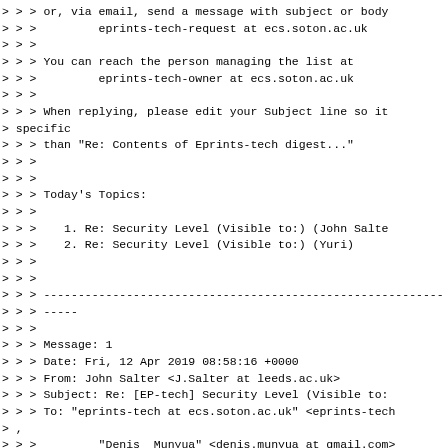> > > or, via email, send a message with subject or body
> > >         eprints-tech-request at ecs.soton.ac.uk
> > >
> > > You can reach the person managing the list at
> > >         eprints-tech-owner at ecs.soton.ac.uk
> > >
> > > When replying, please edit your Subject line so it
> specific
> > > than "Re: Contents of Eprints-tech digest..."
> > >
> > >
> > > Today's Topics:
> > >
> > >    1. Re: Security Level (Visible to:) (John Salte
> > >    2. Re: Security Level (Visible to:) (Yuri)
> > >
> > >
> > > ----------------------------------------------------------
> > > -----
> > >
> > > Message: 1
> > > Date: Fri, 12 Apr 2019 08:58:16 +0000
> > > From: John Salter <J.Salter at leeds.ac.uk>
> > > Subject: Re: [EP-tech] Security Level (Visible to:
> > > To: "eprints-tech at ecs.soton.ac.uk" <eprints-tech
> ,
> > >         "Denis  Munyua" <denis.munyua at gmail.com>
> > > Message-ID:
> > >         <DB6PR0302MB2711A82E5F7E1E2784DD3100C4280 a
> .e
> > > urnrd02.prod.outlook.com>